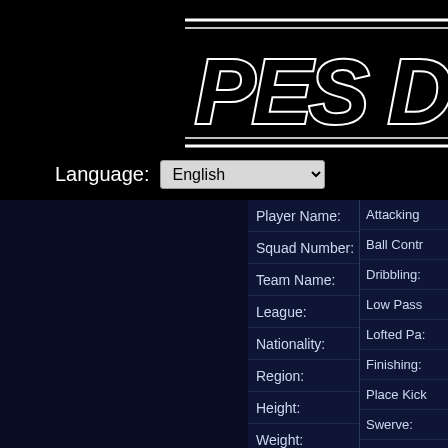[Figure (screenshot): PES Database website logo with white outlined italic text 'PES D' on black background with decorative horizontal lines]
Language: English
| Field | Value |
| --- | --- |
| Player Name: | M. COLIN |
| Squad Number: | 2 |
| Team Name: | HOUNSLOW |
| League: | English 2nd Division |
| Nationality: | FRANCE |
| Region: | Europe |
| Height: | 180 |
| Weight: | 75 |
| Age: | 24 |
| Foot: | Right foot |
| Position: | RB |
Attacking
Ball Contr
Dribbling:
Low Pass
Lofted Pa:
Finishing:
Place Kick
Swerve:
Header:
Defensive
Ball Winni
This website uses cookies to ensure you get the best experience on our website. Learn more
Got it!